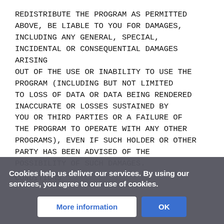REDISTRIBUTE THE PROGRAM AS PERMITTED ABOVE, BE LIABLE TO YOU FOR DAMAGES, INCLUDING ANY GENERAL, SPECIAL, INCIDENTAL OR CONSEQUENTIAL DAMAGES ARISING OUT OF THE USE OR INABILITY TO USE THE PROGRAM (INCLUDING BUT NOT LIMITED TO LOSS OF DATA OR DATA BEING RENDERED INACCURATE OR LOSSES SUSTAINED BY YOU OR THIRD PARTIES OR A FAILURE OF THE PROGRAM TO OPERATE WITH ANY OTHER PROGRAMS), EVEN IF SUCH HOLDER OR OTHER PARTY HAS BEEN ADVISED OF THE POSSIBILITY OF SUCH DAMAGES.
Cookies help us deliver our services. By using our services, you agree to our use of cookies.
More information
OK